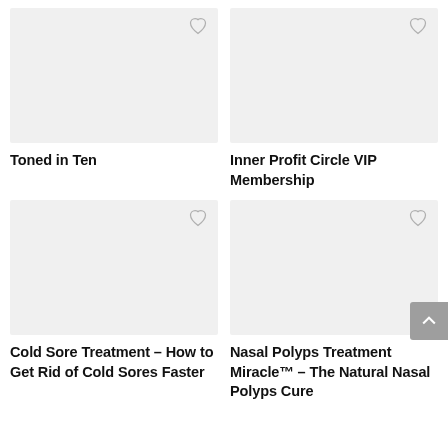[Figure (illustration): Product thumbnail placeholder image with light gray background and heart/favorite icon in top right corner]
Toned in Ten
[Figure (illustration): Product thumbnail placeholder image with light gray background and heart/favorite icon in top right corner]
Inner Profit Circle VIP Membership
[Figure (illustration): Product thumbnail placeholder image with light gray background and heart/favorite icon in top right corner]
Cold Sore Treatment – How to Get Rid of Cold Sores Faster
[Figure (illustration): Product thumbnail placeholder image with light gray background and heart/favorite icon in top right corner]
Nasal Polyps Treatment Miracle™ – The Natural Nasal Polyps Cure